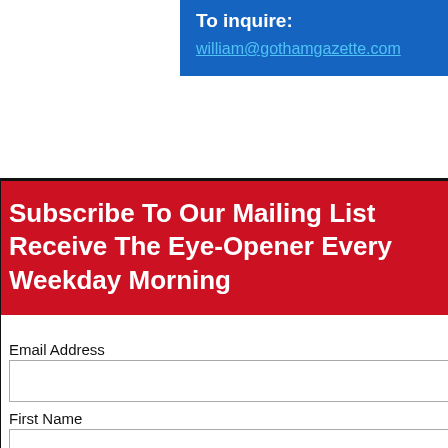To inquire:
william@gothamgazette.com
Subscribe To Our Mailing List Receive The Eye-Opener Every Weekday Morning
* required
Email Address
First Name
Last Name
Zip Code